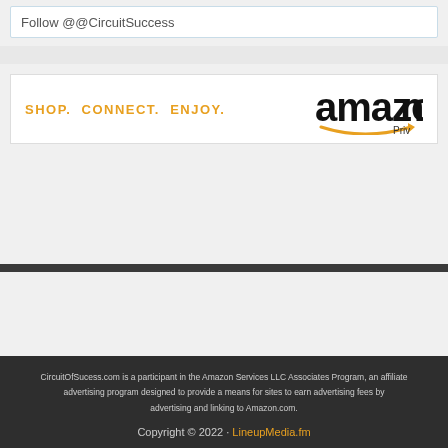Follow @@CircuitSuccess
[Figure (logo): Amazon Priv advertisement banner with orange text 'SHOP. CONNECT. ENJOY.' and Amazon logo with 'Priv' text]
CircuitOfSucess.com is a participant in the Amazon Services LLC Associates Program, an affiliate advertising program designed to provide a means for sites to earn advertising fees by advertising and linking to Amazon.com.

Copyright © 2022 · LineupMedia.fm